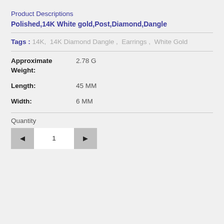Product Descriptions
Polished,14K White gold,Post,Diamond,Dangle
Tags : 14K,  14K Diamond Dangle ,  Earrings ,  White Gold
Approximate Weight: 2.78 G
Length: 45 MM
Width: 6 MM
Quantity
1